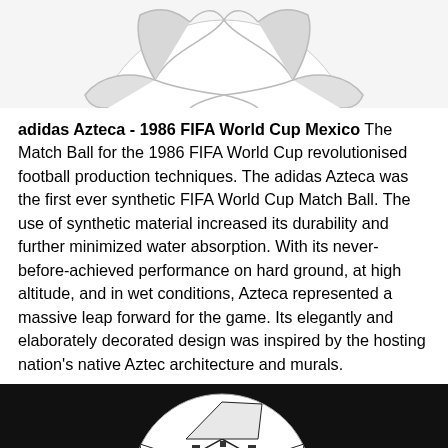[Figure (photo): Top portion of a white soccer ball (likely adidas Azteca) with geometric pattern, cropped at the top of the page on a white background]
adidas Azteca - 1986 FIFA World Cup Mexico The Match Ball for the 1986 FIFA World Cup revolutionised football production techniques. The adidas Azteca was the first ever synthetic FIFA World Cup Match Ball. The use of synthetic material increased its durability and further minimized water absorption. With its never-before-achieved performance on hard ground, at high altitude, and in wet conditions, Azteca represented a massive leap forward for the game. Its elegantly and elaborately decorated design was inspired by the hosting nation's native Aztec architecture and murals.
[Figure (photo): Adidas Azteca soccer ball showing white panels with dark blue/black Aztec geometric pattern, with 'azteca' and 'Mexico' text visible on the ball, photographed on a dark background]